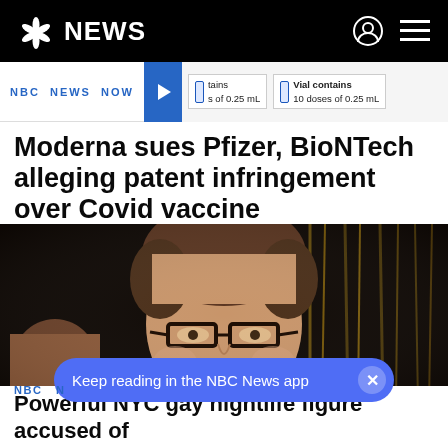NBC NEWS
[Figure (screenshot): NBC News Now video preview thumbnail showing vaccine vials with text 'Vial contains 10 doses of 0.25 mL']
Moderna sues Pfizer, BioNTech alleging patent infringement over Covid vaccine
[Figure (photo): Photo of a smiling man with glasses, brown hair, wearing a dark shirt, at what appears to be a social event with gold streamers in the background]
Keep reading in the NBC News app
Powerful NYC gay nightlife figure accused of